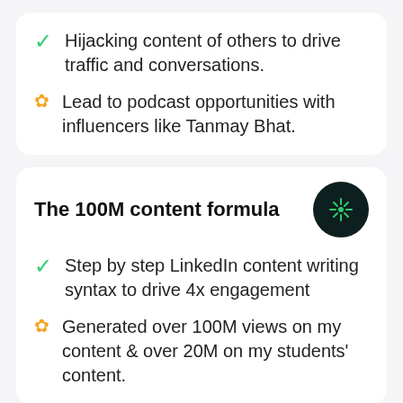Hijacking content of others to drive traffic and conversations.
Lead to podcast opportunities with influencers like Tanmay Bhat.
The 100M content formula
Step by step LinkedIn content writing syntax to drive 4x engagement
Generated over 100M views on my content & over 20M on my students' content.